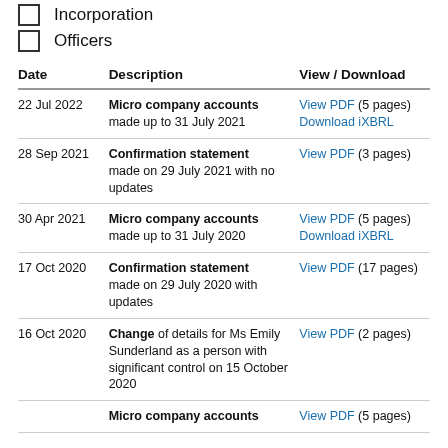Incorporation
Officers
| Date | Description | View / Download |
| --- | --- | --- |
| 22 Jul 2022 | Micro company accounts made up to 31 July 2021 | View PDF (5 pages)
Download iXBRL |
| 28 Sep 2021 | Confirmation statement made on 29 July 2021 with no updates | View PDF (3 pages) |
| 30 Apr 2021 | Micro company accounts made up to 31 July 2020 | View PDF (5 pages)
Download iXBRL |
| 17 Oct 2020 | Confirmation statement made on 29 July 2020 with updates | View PDF (17 pages) |
| 16 Oct 2020 | Change of details for Ms Emily Sunderland as a person with significant control on 15 October 2020 | View PDF (2 pages) |
|  | Micro company accounts | View PDF (5 pages) |